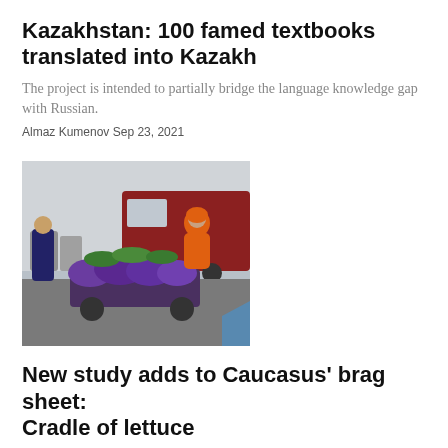Kazakhstan: 100 famed textbooks translated into Kazakh
The project is intended to partially bridge the language knowledge gap with Russian.
Almaz Kumenov Sep 23, 2021
[Figure (photo): A person in an orange jacket standing at an outdoor market stall with purple bags of vegetables on a cart, with a red truck in the background.]
New study adds to Caucasus' brag sheet: Cradle of lettuce
Geneticists say the popular vegetable was first domesticated in the region.